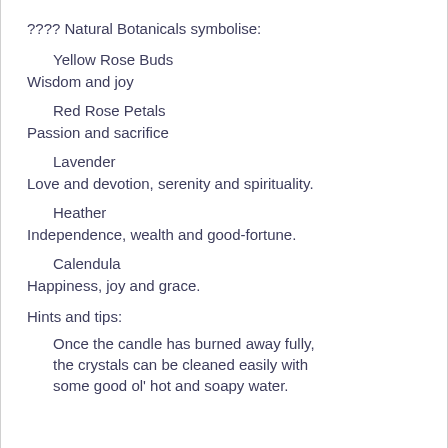???? Natural Botanicals symbolise:
Yellow Rose Buds
Wisdom and joy
Red Rose Petals
Passion and sacrifice
Lavender
Love and devotion, serenity and spirituality.
Heather
Independence, wealth and good-fortune.
Calendula
Happiness, joy and grace.
Hints and tips:
Once the candle has burned away fully, the crystals can be cleaned easily with some good ol' hot and soapy water.